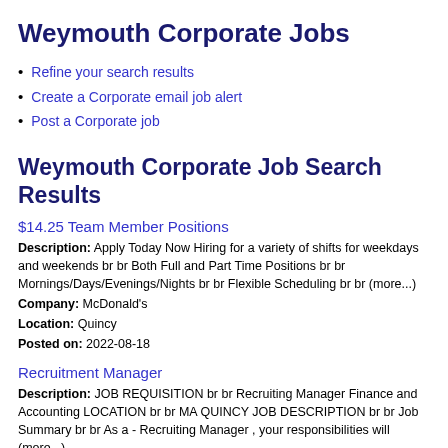Weymouth Corporate Jobs
Refine your search results
Create a Corporate email job alert
Post a Corporate job
Weymouth Corporate Job Search Results
$14.25 Team Member Positions
Description: Apply Today Now Hiring for a variety of shifts for weekdays and weekends br br Both Full and Part Time Positions br br Mornings/Days/Evenings/Nights br br Flexible Scheduling br br (more...)
Company: McDonald's
Location: Quincy
Posted on: 2022-08-18
Recruitment Manager
Description: JOB REQUISITION br br Recruiting Manager Finance and Accounting LOCATION br br MA QUINCY JOB DESCRIPTION br br Job Summary br br As a - Recruiting Manager , your responsibilities will (more...)
Company: Robert Half